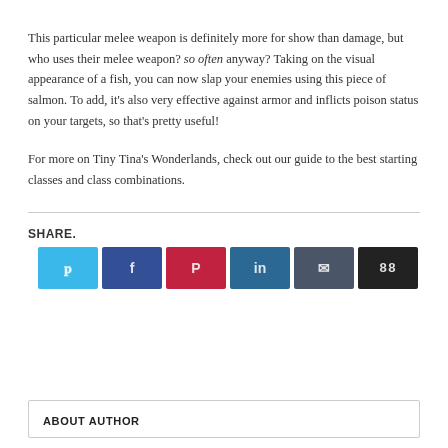This particular melee weapon is definitely more for show than damage, but who uses their melee weapon? so often anyway? Taking on the visual appearance of a fish, you can now slap your enemies using this piece of salmon. To add, it's also very effective against armor and inflicts poison status on your targets, so that's pretty useful!
For more on Tiny Tina's Wonderlands, check out our guide to the best starting classes and class combinations.
SHARE.
[Figure (other): Row of six social share buttons in colors: light blue (Twitter), dark blue (Facebook), red (Pinterest), teal-blue (LinkedIn), slate (unknown), black (share count 88)]
ABOUT AUTHOR